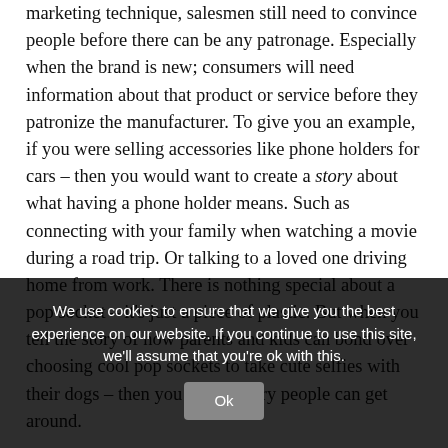marketing technique, salesmen still need to convince people before there can be any patronage. Especially when the brand is new; consumers will need information about that product or service before they patronize the manufacturer. To give you an example, if you were selling accessories like phone holders for cars – then you would want to create a story about what having a phone holder means. Such as connecting with your family when watching a movie during a road trip. Or talking to a loved one driving home from work. There is nothing special about a pop socket – it's just a piece of plastic. But when you tell the story of how parents and kids can bond over choosing cool pop sockets to take cute selfies with their dogs – then you have a story people can get around.
Storytelling forms the foundation of every content marketing strategy. It's important to be factual when making efforts to sell used as strong selling points. antic content marketing principles, it will be easy for customers to take the next action of purchase.
We use cookies to ensure that we give you the best experience on our website. If you continue to use this site, we'll assume that you're ok with this.